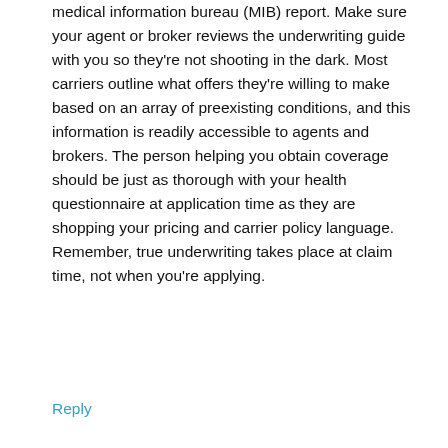medical information bureau (MIB) report. Make sure your agent or broker reviews the underwriting guide with you so they're not shooting in the dark. Most carriers outline what offers they're willing to make based on an array of preexisting conditions, and this information is readily accessible to agents and brokers. The person helping you obtain coverage should be just as thorough with your health questionnaire at application time as they are shopping your pricing and carrier policy language. Remember, true underwriting takes place at claim time, not when you're applying.
Reply